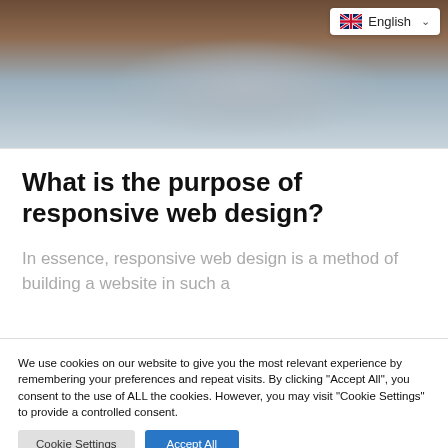[Figure (photo): Top-down photo of a laptop computer with keyboard, mouse, and coffee cups on a wooden desk surface]
English
What is the purpose of responsive web design?
In essence, responsive web design is a method of building a website in such a
We use cookies on our website to give you the most relevant experience by remembering your preferences and repeat visits. By clicking "Accept All", you consent to the use of ALL the cookies. However, you may visit "Cookie Settings" to provide a controlled consent.